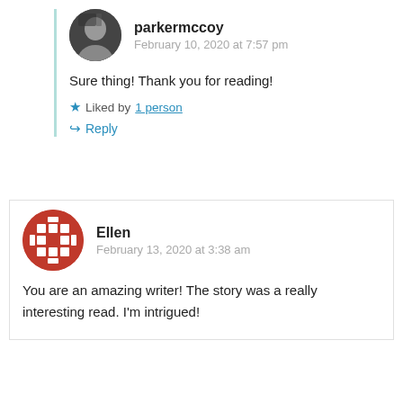parkermccoy
February 10, 2020 at 7:57 pm
Sure thing! Thank you for reading!
Liked by 1 person
Reply
Ellen
February 13, 2020 at 3:38 am
You are an amazing writer! The story was a really interesting read. I'm intrigued!